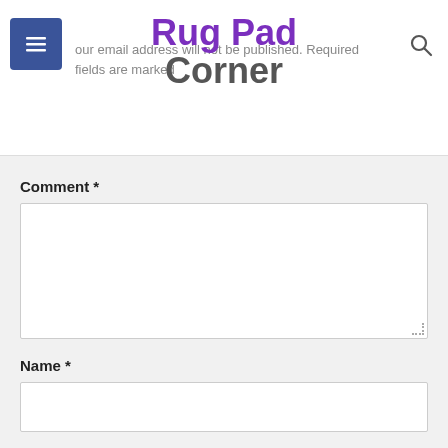Rug Pad Corner
Your email address will not be published. Required fields are marked *
Comment *
Name *
Email *
Website